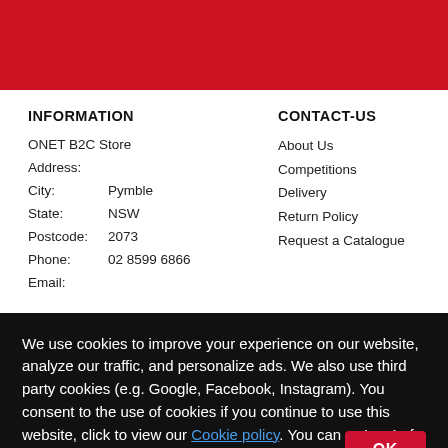[Figure (other): Red header banner at top of page]
INFORMATION
ONET B2C Store
Address:
City:     Pymble
State:    NSW
Postcode: 2073
Phone:    02 8599 6866
Email:
CONTACT-US
About Us
Competitions
Delivery
Return Policy
Request a Catalogue
We use cookies to improve your experience on our website, analyze our traffic, and personalize ads. We also use third party cookies (e.g. Google, Facebook, Instagram). You consent to the use of cookies if you continue to use this website, click to view our Cookie policy. You can opt-out of Analytics tracking by clicking on this link.